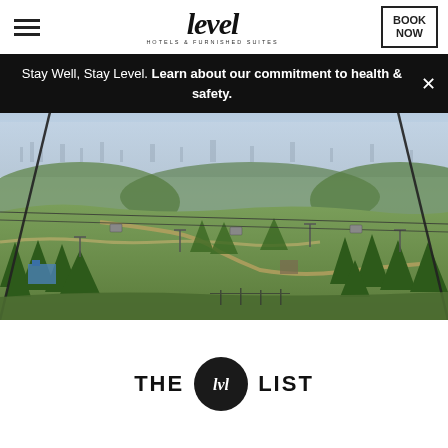level HOTELS & FURNISHED SUITES | BOOK NOW
Stay Well, Stay Level. Learn about our commitment to health & safety.
[Figure (photo): Aerial view of a ski resort / mountain area with chairlifts, green forested hillsides, trails, and a city in the background, taken from a gondola or ski lift perspective.]
[Figure (logo): THE LVL LIST logo — the words THE and LIST flank a dark circular badge containing a stylized LVL monogram in white.]